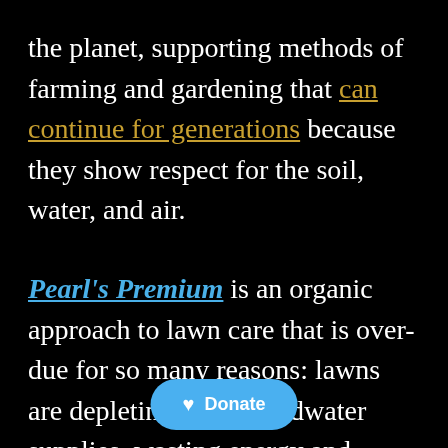the planet, supporting methods of farming and gardening that can continue for generations because they show respect for the soil, water, and air.
Pearl's Premium is an organic approach to lawn care that is over-due for so many reasons: lawns are depleting our groundwater supplies, wasting energy and adding to greenhouse run off and unnecessary heal t ends